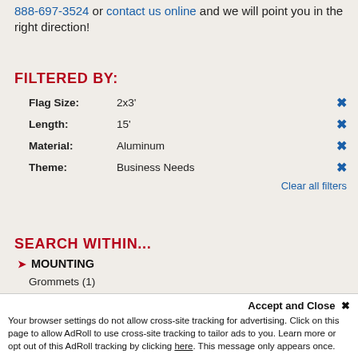888-697-3524 or contact us online and we will point you in the right direction!
FILTERED BY:
Flag Size: 2x3'
Length: 15'
Material: Aluminum
Theme: Business Needs
Clear all filters
SEARCH WITHIN...
MOUNTING
Grommets (1)
D-Rings (1)
Ropes & Thimbles (1)
Freestanding (1)
Accept and Close ✕
Your browser settings do not allow cross-site tracking for advertising. Click on this page to allow AdRoll to use cross-site tracking to tailor ads to you. Learn more or opt out of this AdRoll tracking by clicking here. This message only appears once.